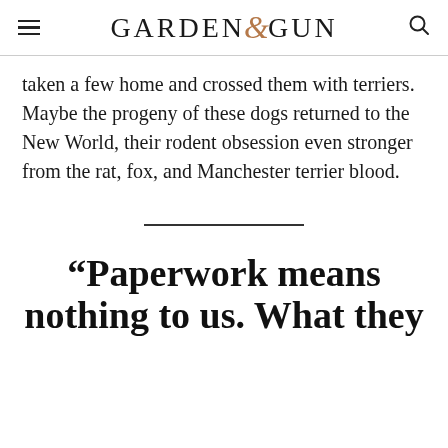GARDEN & GUN
taken a few home and crossed them with terriers. Maybe the progeny of these dogs returned to the New World, their rodent obsession even stronger from the rat, fox, and Manchester terrier blood.
“Paperwork means nothing to us. What they